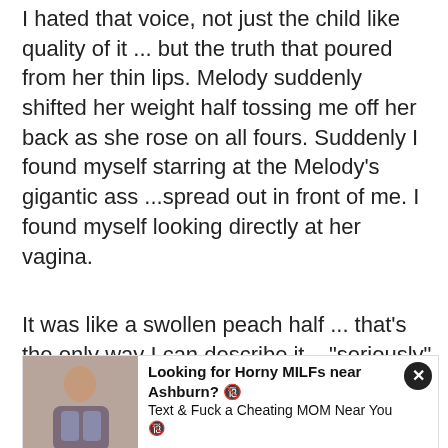I hated that voice, not just the child like quality of it ... but the truth that poured from her thin lips. Melody suddenly shifted her weight half tossing me off her back as she rose on all fours. Suddenly I found myself starring at the Melody's gigantic ass ...spread out in front of me. I found myself looking directly at her vagina.
It was like a swollen peach half ... that's the only way I can describe it... "seriously"
[Figure (photo): Advertisement overlay featuring a woman's photo on the left and bold ad text reading 'Looking for Horny MILFs near Ashburn? Text & Fuck a Cheating MOM Near You' with a close button]
some tanning session gone wrong, I